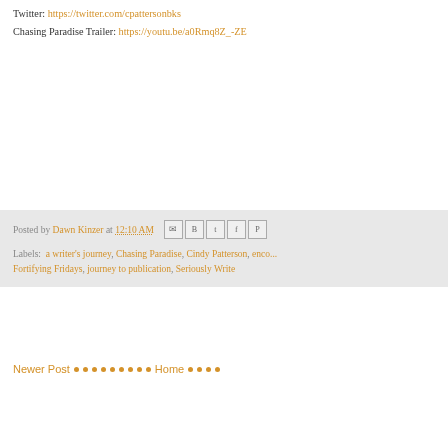Twitter: https://twitter.com/cpattersonbks
Chasing Paradise Trailer: https://youtu.be/a0Rmq8Z_-ZE
Posted by Dawn Kinzer at 12:10 AM
Labels: a writer's journey, Chasing Paradise, Cindy Patterson, enco..., Fortifying Fridays, journey to publication, Seriously Write
Newer Post • • • • • • • • • Home • • • •